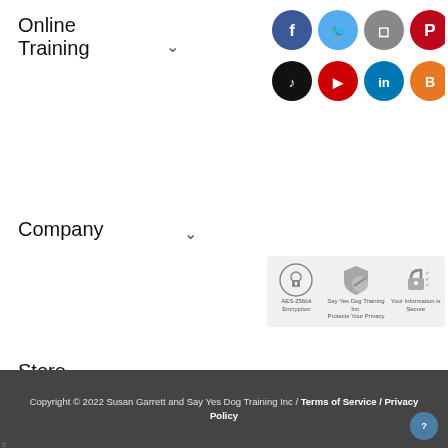Online Training ˅
[Figure (illustration): Social media icons in two rows: Facebook (blue), Twitter (light blue), Instagram (gray), Pinterest (red) in top row; TikTok (black), YouTube (red), LinkedIn (teal), Blogger (orange) in bottom row]
Company ˅
[Figure (illustration): Three security trust badges: AES-256bit Encryption lock icon, Say Yes Dog Training Inc. Protects Your Privacy shield icon, Your Information is Secure padlock icon]
Store ˅
Copyright © 2022 Susan Garrett and Say Yes Dog Training Inc / Terms of Service / Privacy Policy